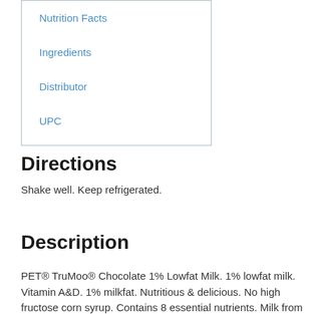Nutrition Facts
Ingredients
Distributor
UPC
Directions
Shake well. Keep refrigerated.
Description
PET® TruMoo® Chocolate 1% Lowfat Milk. 1% lowfat milk. Vitamin A&D. 1% milkfat. Nutritious & delicious. No high fructose corn syrup. Contains 8 essential nutrients. Milk from your trusted dairy. 150 calories per serving. One gallon